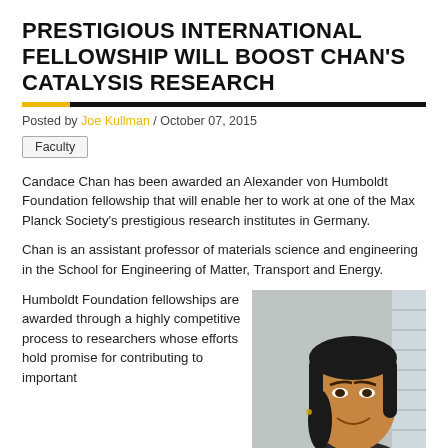PRESTIGIOUS INTERNATIONAL FELLOWSHIP WILL BOOST CHAN'S CATALYSIS RESEARCH
Posted by Joe Kullman / October 07, 2015
Faculty
Candace Chan has been awarded an Alexander von Humboldt Foundation fellowship that will enable her to work at one of the Max Planck Society’s prestigious research institutes in Germany.
Chan is an assistant professor of materials science and engineering in the School for Engineering of Matter, Transport and Energy.
Humboldt Foundation fellowships are awarded through a highly competitive process to researchers whose efforts hold promise for contributing to important
[Figure (photo): Headshot photo of Candace Chan, a woman with long dark hair, smiling, in an indoor setting]